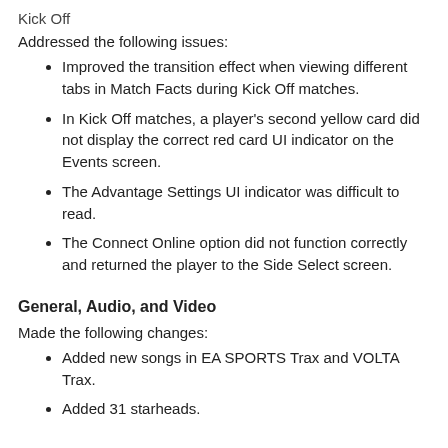Kick Off
Addressed the following issues:
Improved the transition effect when viewing different tabs in Match Facts during Kick Off matches.
In Kick Off matches, a player's second yellow card did not display the correct red card UI indicator on the Events screen.
The Advantage Settings UI indicator was difficult to read.
The Connect Online option did not function correctly and returned the player to the Side Select screen.
General, Audio, and Video
Made the following changes:
Added new songs in EA SPORTS Trax and VOLTA Trax.
Added 31 starheads.